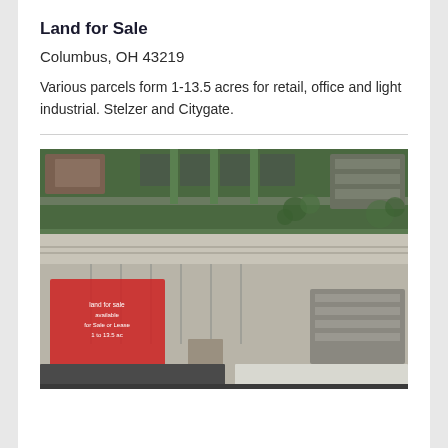Land for Sale
Columbus, OH 43219
Various parcels form 1-13.5 acres for retail, office and light industrial. Stelzer and Citygate.
[Figure (photo): Aerial satellite view of land parcels near Stelzer and Citygate in Columbus, OH 43219. A red highlighted parcel is visible in the lower-left area of the image.]